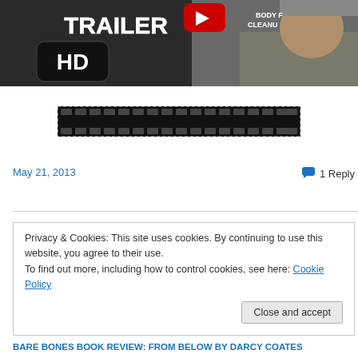[Figure (screenshot): YouTube video thumbnail showing a movie trailer with 'TRAILER HD' text overlay, YouTube play button icon, and an elderly man in the background. Text 'BODY F... CLEANU...' visible on right side.]
[Figure (illustration): Film strip graphic/banner image, black with white sprocket holes along top and bottom edges]
May 21, 2013
1 Reply
Privacy & Cookies: This site uses cookies. By continuing to use this website, you agree to their use.
To find out more, including how to control cookies, see here: Cookie Policy
Close and accept
BARE BONES BOOK REVIEW: FROM BELOW by DARCY COATES